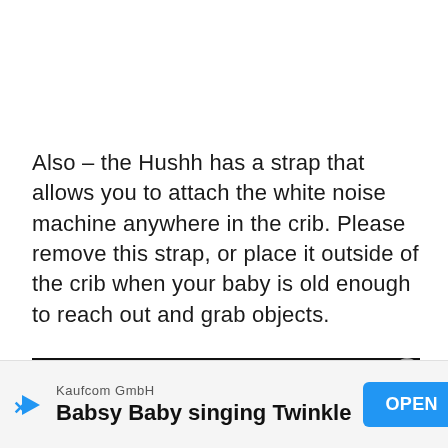Also – the Hushh has a strap that allows you to attach the white noise machine anywhere in the crib. Please remove this strap, or place it outside of the crib when your baby is old enough to reach out and grab objects.
[Figure (screenshot): Dark banner bar with partially visible text 'See also  Wondering How To' in italic bold white/gray text on black background]
[Figure (screenshot): Advertisement banner: Kaufcom GmbH - Babsy Baby singing Twinkle, with blue OPEN button and close X button]